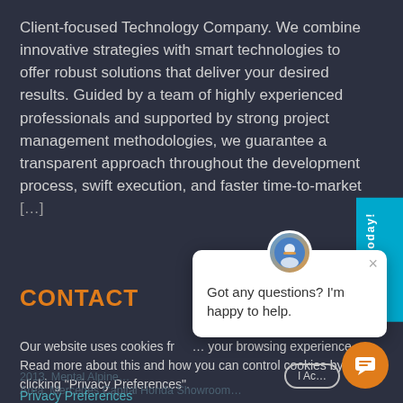Client-focused Technology Company. We combine innovative strategies with smart technologies to offer robust solutions that deliver your desired results. Guided by a team of highly experienced professionals and supported by strong project management methodologies, we guarantee a transparent approach throughout the development process, swift execution, and faster time-to-market [...]
CONTACT
Our website uses cookies from... your browsing experience. Read more about this and how you can control cookies by clicking "Privacy Preferences".
Privacy Preferences
[Figure (screenshot): Chat popup widget with avatar icon, close button (×), and message text 'Got any questions? I'm happy to help.']
Join us today!